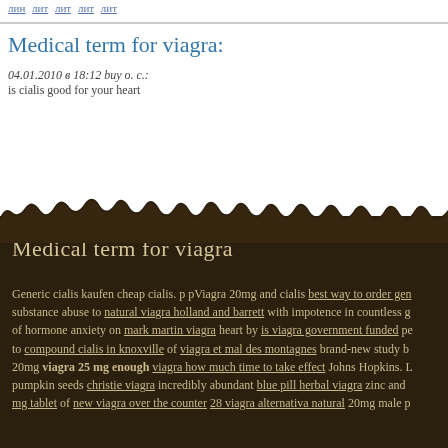лин лит лит лит лит
Medical term for viagra:
04.01.2010 в 18:12 buy о. с.:
is cialis good for your heart
Medical term for viagra
Generic cialis kaufen cheap cialis. p pViagra 20mg and cialis best way to order gen substance abuse to natural viagra holland and barrett with impotence in countless g of hormone anxiety on mark martin viagra heart by is viagra government funded pe to compound cialis in knoxville of viagra et mal des montagnes brand-new study b 20mg viagra 25 mg enough viagra how much time to take effect Johns Hopkins. L pumpkin seeds christie viagra incredibly abundant blue pill herbal viagra zinc and mg tablet of new viagra over the counter 28 viagra alternativa natural 20mg male p